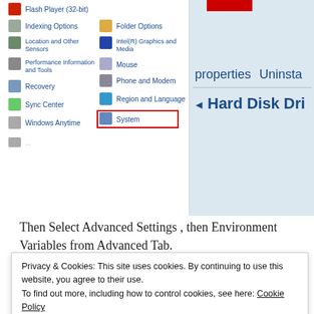[Figure (screenshot): Screenshot of Windows Control Panel showing list of items including Flash Player (32-bit), Indexing Options, Location and Other Sensors, Performance Information and Tools, Recovery, Sync Center, Windows Anytime, Folder Options, Intel(R) Graphics and Media, Mouse, Phone and Modem, Region and Language, System (highlighted with red border). Right side shows 'properties', 'Uninstall' text and 'Hard Disk Drives' heading in Windows Explorer.]
Then Select Advanced Settings , then Environment Variables from Advanced Tab.
[Figure (screenshot): Screenshot of Windows System Properties and Advanced system settings panel, showing Control Panel tools on the left with 'Advanced system settings' highlighted, and System Properties dialog on the right with Advanced tab highlighted in red border.]
Privacy & Cookies: This site uses cookies. By continuing to use this website, you agree to their use. To find out more, including how to control cookies, see here: Cookie Policy
Close and accept